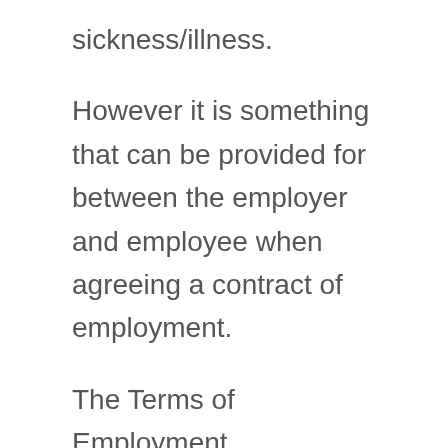sickness/illness.
However it is something that can be provided for between the employer and employee when agreeing a contract of employment.
The Terms of Employment (Information) Act 1994 specifically refers to the provision for incapacity for work due to sickness as being one of the things about which the employer must provide information to the